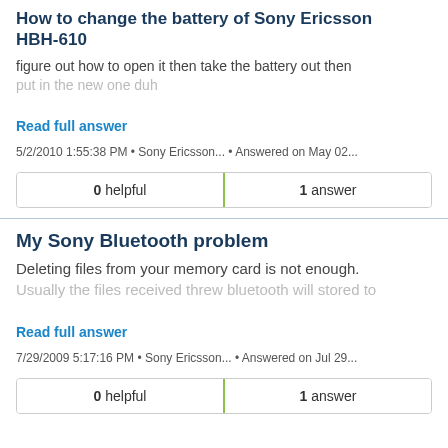How to change the battery of Sony Ericsson HBH-610
figure out how to open it then take the battery out then put in the new one duh
Read full answer
5/2/2010 1:55:38 PM • Sony Ericsson... • Answered on May 02...
| helpful | answer |
| --- | --- |
| 0 helpful | 1 answer |
My Sony Bluetooth problem
Deleting files from your memory card is not enough. Usually the files received threw bluetooth will stored to
Read full answer
7/29/2009 5:17:16 PM • Sony Ericsson... • Answered on Jul 29...
| helpful | answer |
| --- | --- |
| 0 helpful | 1 answer |